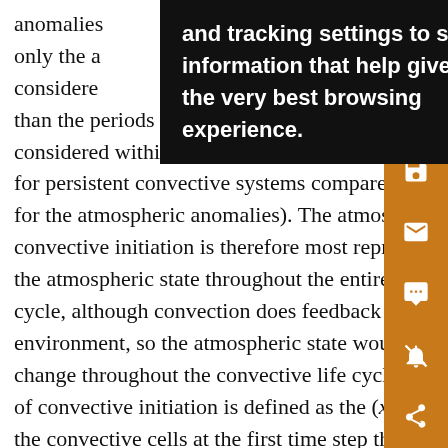anomalies ...ach are isolated u...re, only the a...s considere...hort than the periods of atmospheric anomalies being considered within the spectrally filtered time series (~6 for persistent convective systems compared to >20 days for the atmospheric anomalies). The atmospheric state a convective initiation is therefore most representative of the atmospheric state throughout the entire convective l cycle, although convection does feedback upon its environment, so the atmospheric state would still likely change throughout the convective life cycle. The location of convective initiation is defined as the (x, y) centroid of the convective cells at the first time step they were identified. Since we define the atmospheric state for each
[Figure (other): Cookie consent tooltip/popup overlay with black background and white bold text reading: 'and tracking settings to store information that help give you the very best browsing experience.']
[Figure (other): Orange sidebar with four icons: save (floppy disk), email (envelope), quote (speech bubble with quotes), notifications (bell with strikethrough), share (network share icon)]